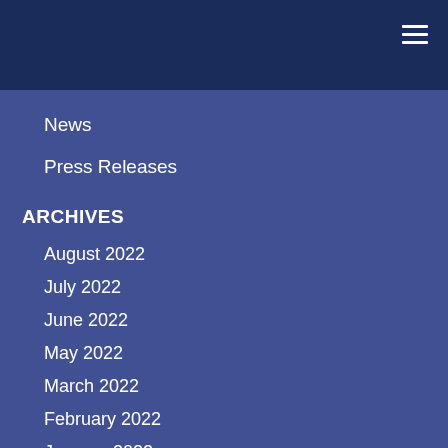News
Press Releases
ARCHIVES
August 2022
July 2022
June 2022
May 2022
March 2022
February 2022
January 2022
December 2020